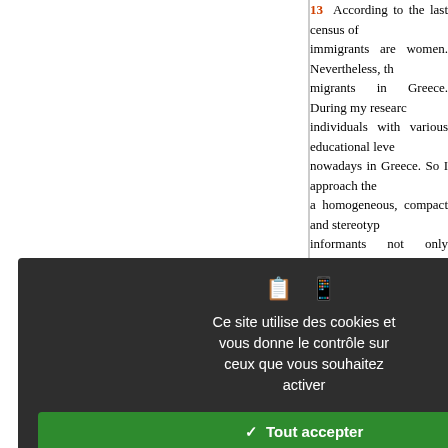13   According to the last census of ... immigrants are women. Nevertheless, th... migrants in Greece. During my researc... individuals with various educational leve... nowadays in Greece. So I approach the... a homogeneous, compact and stereotyp... informants not only because of their qu... ut mostly in order to cover a big gap... tudy of the role of gender to migratory... ssues it was important to mention that... nthropological analysis of the gende... Angelidou (2008).
4   E. Markova 2001.
5   For the values created as a conse... orders see the analyses of N. Green (2...
6   It is worth noting that these percept... he fieldwork for my PhD dissertation in... Bulgaria was just in its beginning and th... vas an important lack of information... ulturally similar country to Bulgaria... nternational political power. However,... erms of technology and economic gro... mages were, to my opinion, related... isseminated during socialism about th...
[Figure (screenshot): Cookie consent dialog overlay with dark background. Contains icons, text in French 'Ce site utilise des cookies et vous donne le contrôle sur ceux que vous souhaitez activer', a green 'Tout accepter' button, a red 'Tout refuser' button, a white 'Personnaliser' button, and a 'Politique de confidentialité' link.]